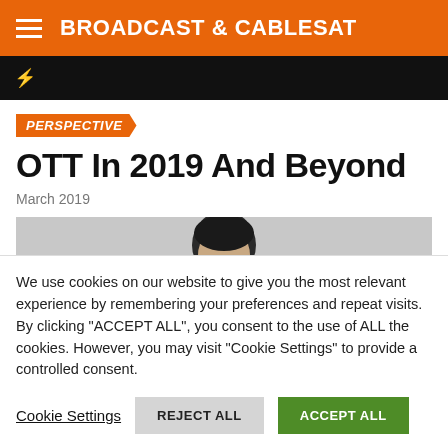BROADCAST & CABLESAT
[Figure (other): Black breaking news bar with lightning bolt icon]
PERSPECTIVE
OTT In 2019 And Beyond
March 2019
[Figure (photo): Partial author headshot photo with gray background]
We use cookies on our website to give you the most relevant experience by remembering your preferences and repeat visits. By clicking "ACCEPT ALL", you consent to the use of ALL the cookies. However, you may visit "Cookie Settings" to provide a controlled consent.
Cookie Settings   REJECT ALL   ACCEPT ALL